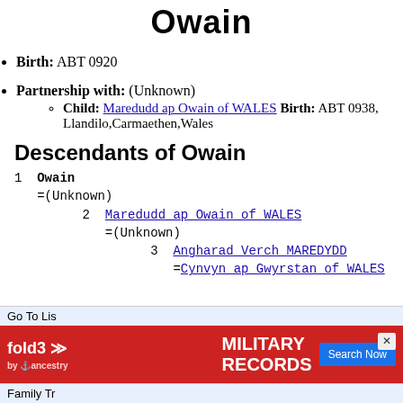Owain
Birth: ABT 0920
Partnership with: (Unknown)
  Child: Maredudd ap Owain of WALES Birth: ABT 0938, Llandilo,Carmaethen,Wales
Descendants of Owain
1  Owain
   =(Unknown)
         2  Maredudd ap Owain of WALES
            =(Unknown)
                  3  Angharad Verch MAREDYDD
                     =Cynvyn ap Gwyrstan of WALES
Go To Lis...
[Figure (screenshot): fold3 Military Records advertisement banner with Search Now button]
Family Tr...